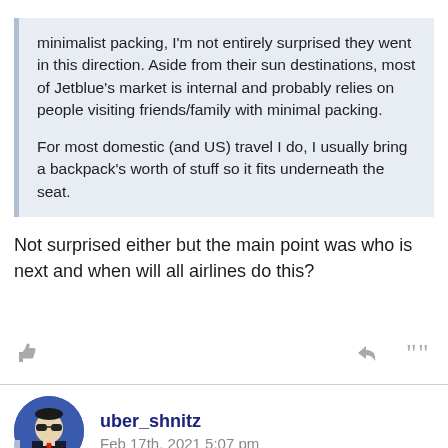minimalist packing, I'm not entirely surprised they went in this direction. Aside from their sun destinations, most of Jetblue's market is internal and probably relies on people visiting friends/family with minimal packing.

For most domestic (and US) travel I do, I usually bring a backpack's worth of stuff so it fits underneath the seat.
Not surprised either but the main point was who is next and when will all airlines do this?
uber_shnitz
Feb 17th, 2021 5:07 pm